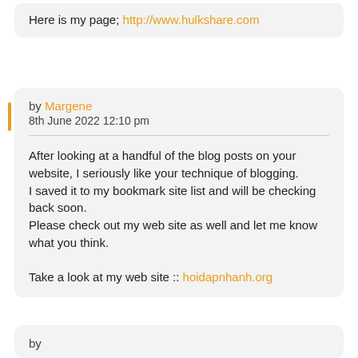Here is my page; http://www.hulkshare.com
by Margene
8th June 2022 12:10 pm
After looking at a handful of the blog posts on your website, I seriously like your technique of blogging.
I saved it to my bookmark site list and will be checking back soon.
Please check out my web site as well and let me know what you think.

Take a look at my web site :: hoidapnhanh.org
by ...